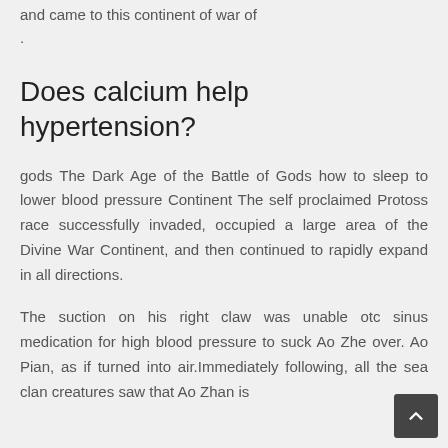and came to this continent of war of
.
Does calcium help hypertension?
gods The Dark Age of the Battle of Gods how to sleep to lower blood pressure Continent The self proclaimed Protoss race successfully invaded, occupied a large area of the Divine War Continent, and then continued to rapidly expand in all directions.
The suction on his right claw was unable otc sinus medication for high blood pressure to suck Ao Zhe over. Ao Pian, as if turned into air.Immediately following, all the sea clan creatures saw that Ao Zhan is